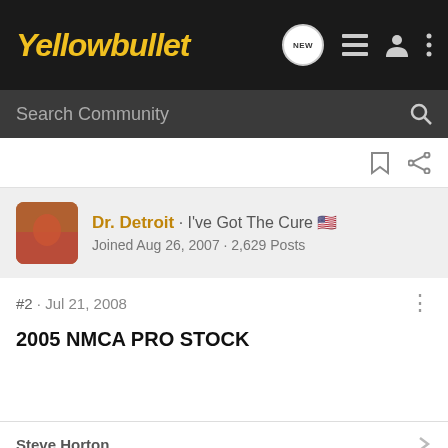Yellowbullet
Search Community
Dr. Detroit · I've Got The Cure 🇺🇸
Joined Aug 26, 2007 · 2,629 Posts
#2 · Jul 21, 2008
2005 NMCA PRO STOCK
Steve Horton